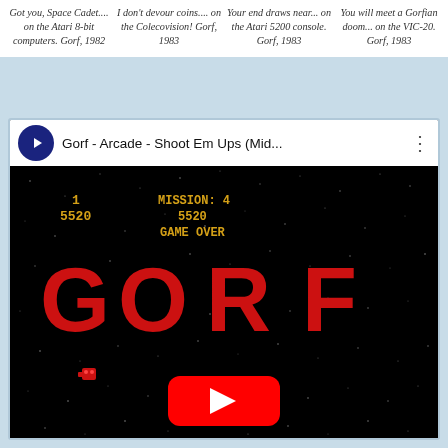Got you, Space Cadet.... on the Atari 8-bit computers. Gorf, 1982
I don't devour coins.... on the Colecovision! Gorf, 1983
Your end draws near... on the Atari 5200 console. Gorf, 1983
You will meet a Gorfian doom... on the VIC-20. Gorf, 1983
[Figure (screenshot): YouTube video embed showing Gorf arcade game with title 'Gorf - Arcade - Shoot Em Ups (Mid...' The video shows a GAME OVER screen with MISSION: 4, score 5520, and large red GORF letters on black starfield background with a red play button overlay.]